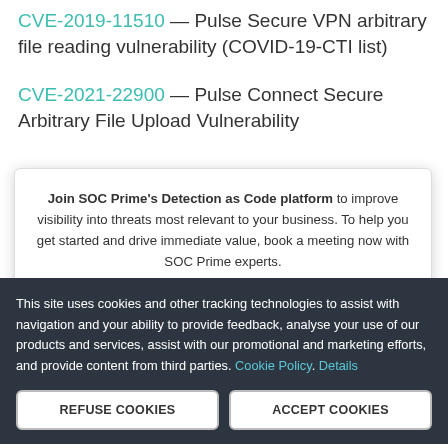CVE-2021-22900 — Pulse Connect Secure Arbitrary File Upload Vulnerability
Join SOC Prime's Detection as Code platform to improve visibility into threats most relevant to your business. To help you get started and drive immediate value, book a meeting now with SOC Prime experts.
JOIN FOR FREE
BOOK A MEETING
This site uses cookies and other tracking technologies to assist with navigation and your ability to provide feedback, analyse your use of our products and services, assist with our promotional and marketing efforts, and provide content from third parties. Cookie Policy. Details
REFUSE COOKIES
ACCEPT COOKIES